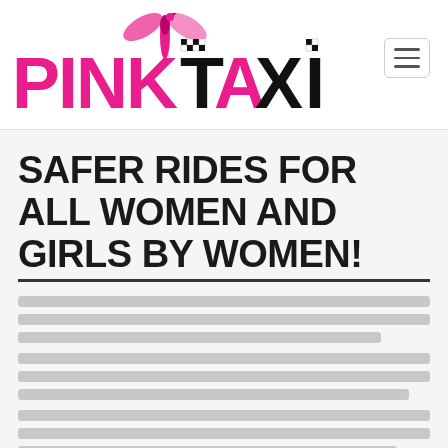[Figure (logo): Pink Taxi logo with stylized pink and black lettering, dragonfly graphic, and checkered taxi pattern on T and I letters]
SAFER RIDES FOR ALL WOMEN AND GIRLS BY WOMEN!
[Body text content blurred/not legible in source image]